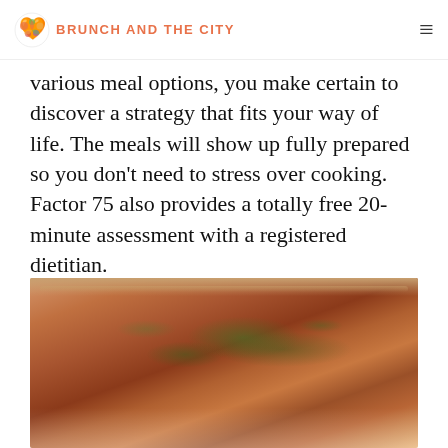BRUNCH AND THE CITY
various meal options, you make certain to discover a strategy that fits your way of life. The meals will show up fully prepared so you don't need to stress over cooking. Factor 75 also provides a totally free 20-minute assessment with a registered dietitian.
[Figure (photo): Photo of a cooked salmon fillet garnished with chopped green herbs and seasoning, served on a white plate with a wooden surface in the background.]